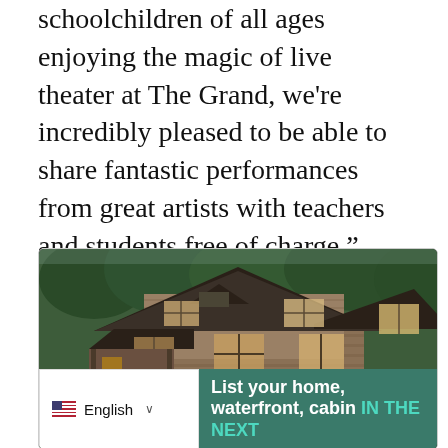schoolchildren of all ages enjoying the magic of live theater at The Grand, we're incredibly pleased to be able to share fantastic performances from great artists with teachers and students free of charge," said Sean Wright, executive director of The Grand, in a news release.
[Figure (photo): Advertisement showing a craftsman-style house/cabin with trees in background. Overlay shows a teal/green text box reading 'List your home, waterfront, cabin IN THE NEXT' and a language selector showing English with US flag.]